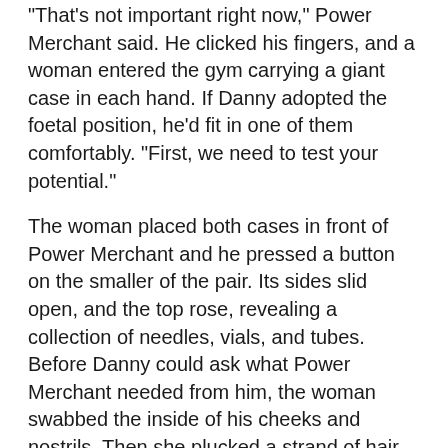“That’s not important right now,” Power Merchant said. He clicked his fingers, and a woman entered the gym carrying a giant case in each hand. If Danny adopted the foetal position, he’d fit in one of them comfortably. “First, we need to test your potential.”
The woman placed both cases in front of Power Merchant and he pressed a button on the smaller of the pair. Its sides slid open, and the top rose, revealing a collection of needles, vials, and tubes. Before Danny could ask what Power Merchant needed from him, the woman swabbed the inside of his cheeks and nostrils. Then she plucked a strand of hair from his scalp, drew blood and sliced a bit of skin off the palm of his hand. She kneeled in front of the case, scanning each sample and stored them away in separate vials.
“While we wait for your results, why don’t you tell me about your dream powers and what you’d do with them.”
The last time someone had asked Danny the question he was eleven-years-old. He struggled to remember the answer he’d given them, but a lot had changed since. At first, he wanted to emulate Vish. The energy-chakram-